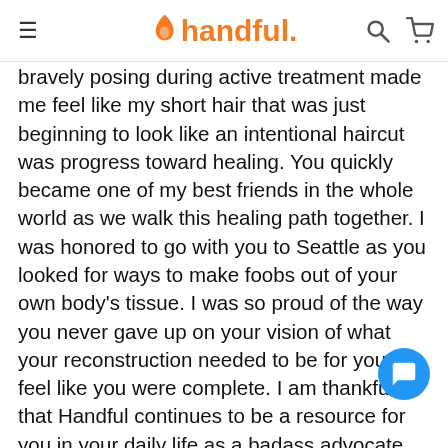handful.
bravely posing during active treatment made me feel like my short hair that was just beginning to look like an intentional haircut was progress toward healing. You quickly became one of my best friends in the whole world as we walk this healing path together. I was honored to go with you to Seattle as you looked for ways to make foobs out of your own body's tissue. I was so proud of the way you never gave up on your vision of what your reconstruction needed to be for you to feel like you were complete. I am thankful that Handful continues to be a resource for you in your daily life as a badass advocate for teachers in our state and in your long walks with first Stella and now sweet Lily. Thank you for being so generous and big-hearted and acting like the big sister I never had growing up. You are wise and wonderful and I know we will be friends forever